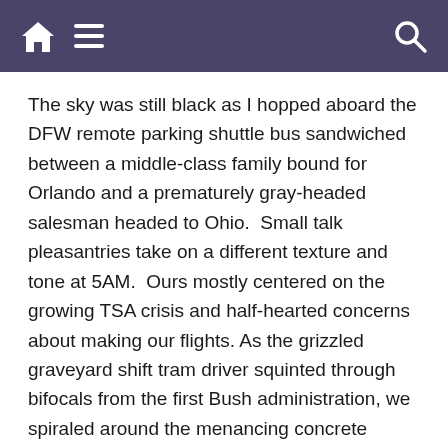[home icon] [menu icon] [search icon]
The sky was still black as I hopped aboard the DFW remote parking shuttle bus sandwiched between a middle-class family bound for Orlando and a prematurely gray-headed salesman headed to Ohio.  Small talk pleasantries take on a different texture and tone at 5AM.  Ours mostly centered on the growing TSA crisis and half-hearted concerns about making our flights. As the grizzled graveyard shift tram driver squinted through bifocals from the first Bush administration, we spiraled around the menancing concrete jungle gym that is a major metropolitan airport's road system. Slamming to a halt at each stop for each terminal despite the fact that the three of us were all heading to B.  Or so I thought.  I bounded off the bus at B, headed to check in and noticed a gate